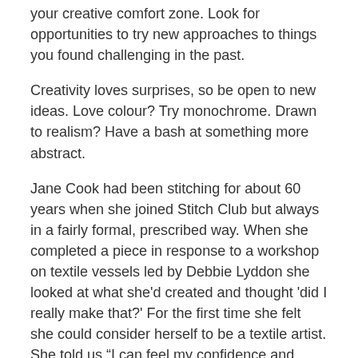your creative comfort zone. Look for opportunities to try new approaches to things you found challenging in the past.
Creativity loves surprises, so be open to new ideas. Love colour? Try monochrome. Drawn to realism? Have a bash at something more abstract.
Jane Cook had been stitching for about 60 years when she joined Stitch Club but always in a fairly formal, prescribed way. When she completed a piece in response to a workshop on textile vessels led by Debbie Lyddon she looked at what she'd created and thought 'did I really make that?' For the first time she felt she could consider herself to be a textile artist. She told us "I can feel my confidence and skills improve as I experiment with each new project".
4. Be curious
Your inner critic is not invited to creativity sessions. We